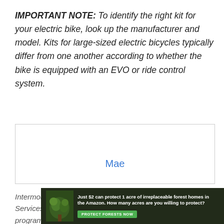IMPORTANT NOTE: To identify the right kit for your electric bike, look up the manufacturer and model. Kits for large-sized electric bicycles typically differ from one another according to whether the bike is equipped with an EVO or ride control system.
[Figure (other): A bordered white box containing a centered blue hyperlink text 'Mae']
IntermountainBikes.com is a participant in the Amazon Services LLC Associates Program, an affiliate advertising program designed to provide a mea...
[Figure (photo): Advertisement banner: forest/Amazon image on the left, text 'Just $2 can protect 1 acre of irreplaceable forest homes in the Amazon. How many acres are you willing to protect?' with a green 'PROTECT FORESTS NOW' button.]